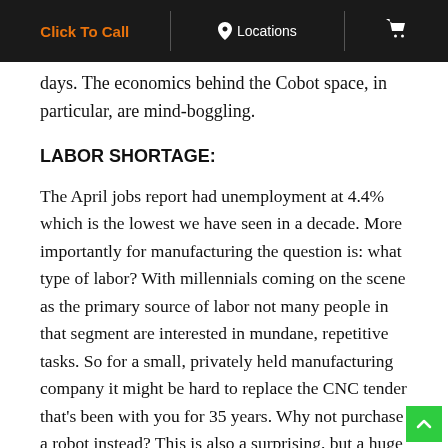Click To Call  |  Locations  |  [cart icon]
days. The economics behind the Cobot space, in particular, are mind-boggling.
LABOR SHORTAGE:
The April jobs report had unemployment at 4.4% which is the lowest we have seen in a decade. More importantly for manufacturing the question is: what type of labor? With millennials coming on the scene as the primary source of labor not many people in that segment are interested in mundane, repetitive tasks. So for a small, privately held manufacturing company it might be hard to replace the CNC tender that's been with you for 35 years. Why not purchase a robot instead? This is also a surprising, but a huge driver of growth.